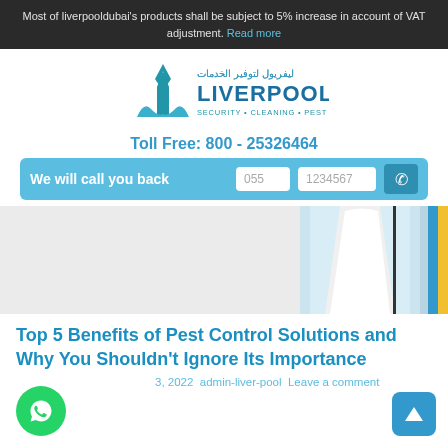Most of liverpooldubai's products shall be subject to 5% increase in account of VAT adjustment. Read more
[Figure (logo): Liverpool Dubai logo with Arabic text, building/palm silhouette in blue, text LIVERPOOL in blue bold, tagline SECURITY • CLEANING • PEST CONTROL]
Toll Free: 800 - 25326464
We will call you back  055  1234567  ☎
[Figure (photo): Hero image showing a person in white uniform/pest control suit, partial view, with blue and yellow accents on the right side]
Top 5 Benefits of Pest Control Solutions and Why You Shouldn't Ignore Its Importance
3, 2022  admin-liver-pool  Leave a comment